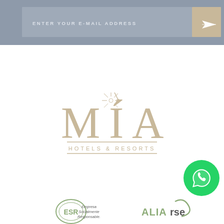[Figure (screenshot): Email subscription bar with text input field 'ENTER YOUR E-MAIL ADDRESS' and a send/arrow button on grey background]
[Figure (logo): MIA Hotels & Resorts logo in gold/tan color with serif font and decorative element above the I]
[Figure (logo): WhatsApp green circle icon with phone handset symbol]
[Figure (logo): ESR (Empresa Socialmente Responsable) logo - oval badge with text]
[Figure (logo): ALIArse logo in green text]